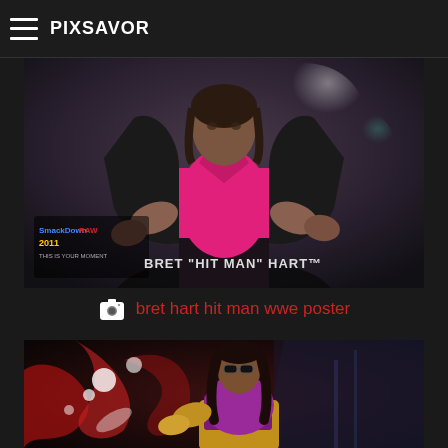PIXSAVOR
[Figure (photo): WWE SmackDown vs Raw 2011 promotional image of Bret 'Hit Man' Hart in a black leather jacket and pink singlet with text 'BRET HIT MAN HART' at bottom left]
bret hart hit man wwe poster
[Figure (photo): Artistic WWE promotional image of Bret Hart with long dark hair and sunglasses against a red and white splash background]